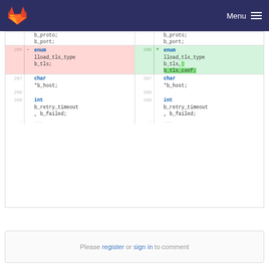Menu
[Figure (screenshot): GitLab diff view showing code changes. Left side (old): line 206 has 'enum lload_tls_type b_tls;' highlighted in red (deleted). Right side (new): line 206 has 'enum lload_tls_type b_tls, b_tls_conf;' highlighted in green (added). Lines 207-209 show: char *b_host; int b_retry_timeout, b_failed;]
Please register or sign in to comment